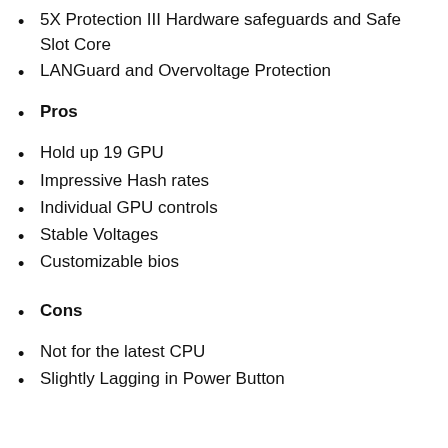5X Protection III Hardware safeguards and Safe Slot Core
LANGuard and Overvoltage Protection
Pros
Hold up 19 GPU
Impressive Hash rates
Individual GPU controls
Stable Voltages
Customizable bios
Cons
Not for the latest CPU
Slightly Lagging in Power Button